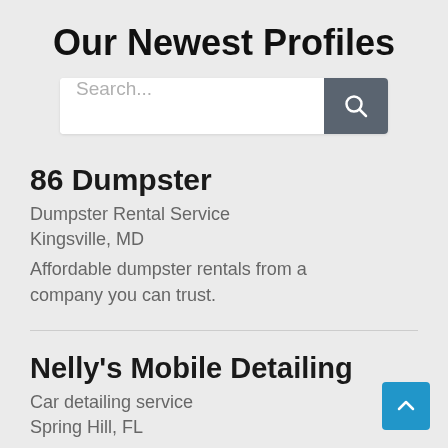Our Newest Profiles
[Figure (screenshot): Search bar with text input field showing placeholder 'Search...' and a dark grey search button with magnifier icon]
86 Dumpster
Dumpster Rental Service
Kingsville, MD
Affordable dumpster rentals from a company you can trust.
Nelly's Mobile Detailing
Car detailing service
Spring Hill, FL